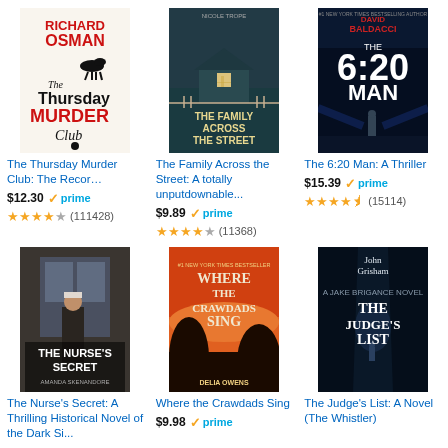[Figure (photo): Book cover: The Thursday Murder Club by Richard Osman, white background with red text and black silhouette]
The Thursday Murder Club: The Recor…
$12.30 ✓prime ★★★★☆ (111428)
[Figure (photo): Book cover: The Family Across the Street by Nicole Trope, dark teal background with house]
The Family Across the Street: A totally unputdownable...
$9.89 ✓prime ★★★★☆ (11368)
[Figure (photo): Book cover: The 6:20 Man by David Baldacci, dark blue background]
The 6:20 Man: A Thriller
$15.39 ✓prime ★★★★½ (15114)
[Figure (photo): Book cover: The Nurse's Secret by Amanda Skenandore, dark moody historical cover]
The Nurse's Secret: A Thrilling Historical Novel of the Dark Si...
[Figure (photo): Book cover: Where the Crawdads Sing by Delia Owens, orange sunset cover]
Where the Crawdads Sing
$9.98 ✓prime
[Figure (photo): Book cover: The Judge's List by John Grisham, dark blue corridor cover]
The Judge's List: A Novel (The Whistler)